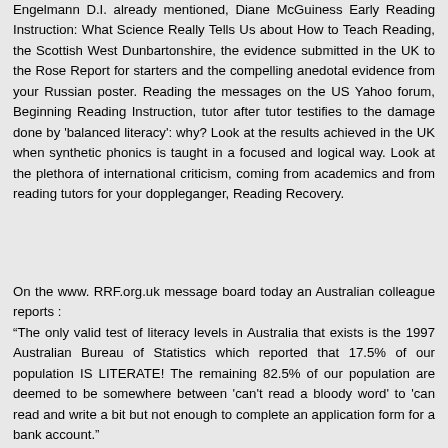Engelmann D.I. already mentioned, Diane McGuiness Early Reading Instruction: What Science Really Tells Us about How to Teach Reading, the Scottish West Dunbartonshire, the evidence submitted in the UK to the Rose Report for starters and the compelling anedotal evidence from your Russian poster. Reading the messages on the US Yahoo forum, Beginning Reading Instruction, tutor after tutor testifies to the damage done by 'balanced literacy': why? Look at the results achieved in the UK when synthetic phonics is taught in a focused and logical way. Look at the plethora of international criticism, coming from academics and from reading tutors for your doppleganger, Reading Recovery.
On the www. RRF.org.uk message board today an Australian colleague reports : “The only valid test of literacy levels in Australia that exists is the 1997 Australian Bureau of Statistics which reported that 17.5% of our population IS LITERATE! The remaining 82.5% of our population are deemed to be somewhere between 'can't read a bloody word' to 'can read and write a bit but not enough to complete an application form for a bank account."